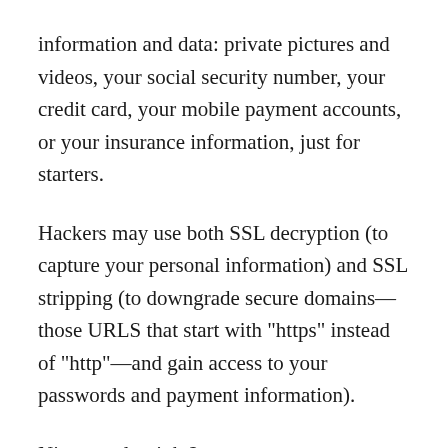information and data: private pictures and videos, your social security number, your credit card, your mobile payment accounts, or your insurance information, just for starters.
Hackers may use both SSL decryption (to capture your personal information) and SSL stripping (to downgrade secure domains—those URLS that start with "https" instead of "http"—and gain access to your passwords and payment information).
Nice people, right?
So, the moral of the story here: Don't just blindly